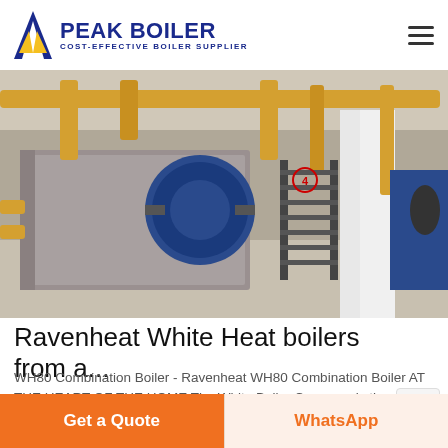PEAK BOILER COST-EFFECTIVE BOILER SUPPLIER
[Figure (photo): Industrial boiler room showing large horizontal boiler units with yellow gas pipes, a blue circular component, black metal staircase, and white support columns in an industrial facility.]
Ravenheat White Heat boilers from a...
WH80 Combination Boiler - Ravenheat WH80 Combination Boiler AT THE HEART OF THE HOME The White Boiler Company is the new exclusive boiler brand that puts style, quality and innovation ...
Get a Quote
WhatsApp